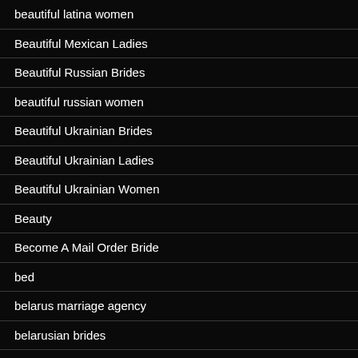beautiful latina women
Beautiful Mexican Ladies
Beautiful Russian Brides
beautiful russian women
Beautiful Ukrainian Brides
Beautiful Ukrainian Ladies
Beautiful Ukrainian Women
Beauty
Become A Mail Order Bride
bed
belarus marriage agency
belarusian brides